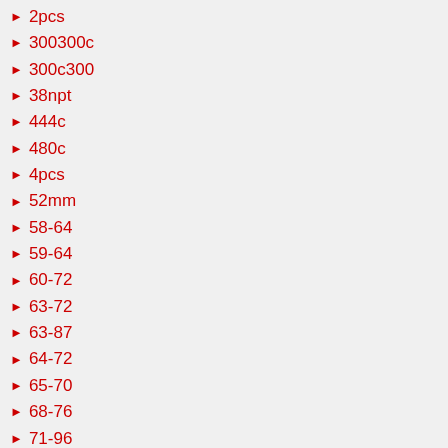2pcs
300300c
300c300
38npt
444c
480c
4pcs
52mm
58-64
59-64
60-72
63-72
63-87
64-72
65-70
68-76
71-96
73-79
73-87
73-87chevy
8-38
82-88
86-93